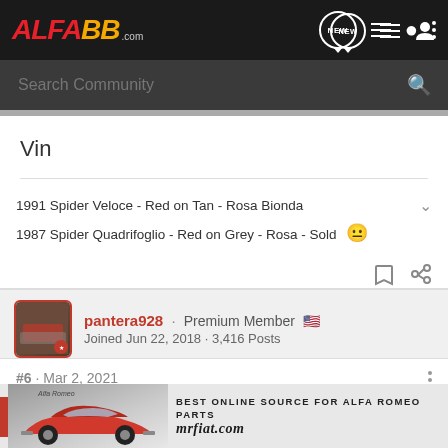ALFA88.com
Search Community
Vin
1991 Spider Veloce - Red on Tan - Rosa Bionda
1987 Spider Quadrifoglio - Red on Grey - Rosa - Sold
pantera928 · Premium Member
Joined Jun 22, 2018 · 3,416 Posts
#6 · Mar 2, 2021
[Figure (photo): Advertisement banner for mrfiat.com showing a red Alfa Romeo spider car with text: BEST ONLINE SOURCE FOR ALFA ROMEO PARTS mrfiat.com]